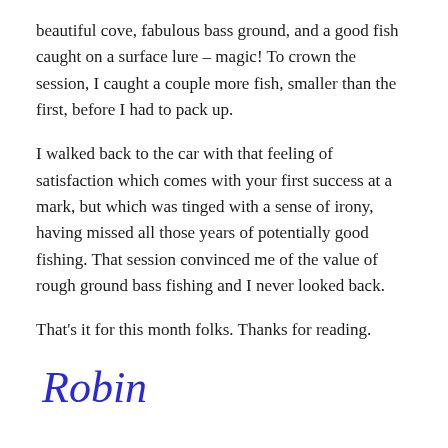beautiful cove, fabulous bass ground, and a good fish caught on a surface lure – magic! To crown the session, I caught a couple more fish, smaller than the first, before I had to pack up.
I walked back to the car with that feeling of satisfaction which comes with your first success at a mark, but which was tinged with a sense of irony, having missed all those years of potentially good fishing. That session convinced me of the value of rough ground bass fishing and I never looked back.
That's it for this month folks. Thanks for reading.
Robin